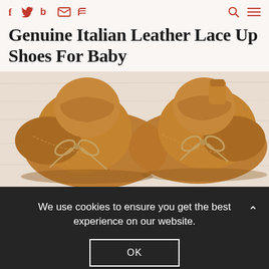f  [twitter]  b  [email]  [rss]  [search]  [menu]
Genuine Italian Leather Lace Up Shoes For Baby
[Figure (photo): Close-up photo of two brown genuine Italian leather lace-up baby shoes on a light wood surface]
We use cookies to ensure you get the best experience on our website.
OK